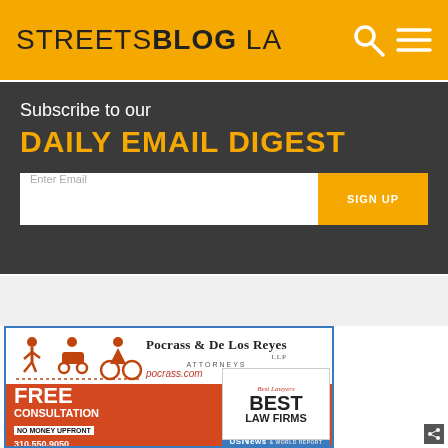STREETSBLOG LA
Subscribe to our DAILY EMAIL DIGEST
Enter Email
SIGN UP
[Figure (illustration): Advertisement for Pocrass & De Los Reyes LLP Attorneys with pedestrian, scooter, and bicycle icons. Shows pocrass.com website, free consultation offer, no money upfront, 310.550.9050 phone number, and Best Lawyers Best Law Firms US News & World Report badge.]